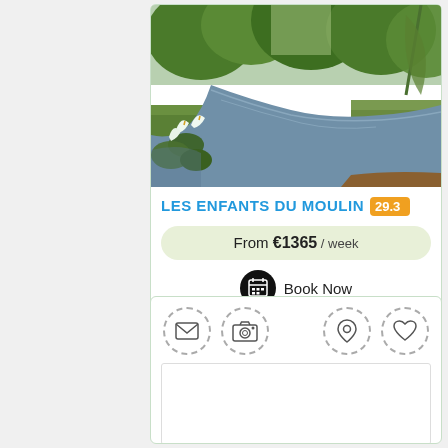[Figure (photo): Scenic outdoor photo showing a river or stream with trees, green grass, and white calla lily plants in the foreground]
LES ENFANTS DU MOULIN 29.3
From €1365 / week
Book Now
[Figure (infographic): Row of icon buttons: envelope/mail icon, camera icon on left; location pin icon, heart/favourite icon on right — all with dashed circular borders]